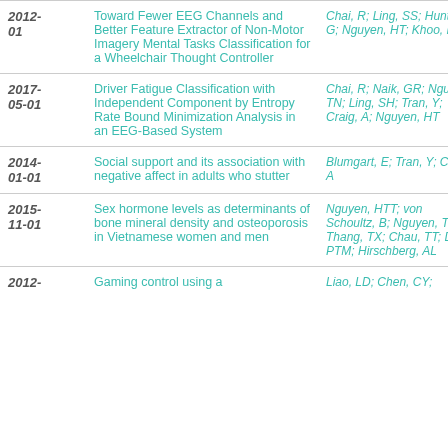| Date | Title | Authors |
| --- | --- | --- |
| 2012-01 | Toward Fewer EEG Channels and Better Feature Extractor of Non-Motor Imagery Mental Tasks Classification for a Wheelchair Thought Controller | Chai, R; Ling, SS; Hunter, G; Nguyen, HT; Khoo, MCK |
| 2017-05-01 | Driver Fatigue Classification with Independent Component by Entropy Rate Bound Minimization Analysis in an EEG-Based System | Chai, R; Naik, GR; Nguyen, TN; Ling, SH; Tran, Y; Craig, A; Nguyen, HT |
| 2014-01-01 | Social support and its association with negative affect in adults who stutter | Blumgart, E; Tran, Y; Craig, A |
| 2015-11-01 | Sex hormone levels as determinants of bone mineral density and osteoporosis in Vietnamese women and men | Nguyen, HTT; von Schoultz, B; Nguyen, TV; Thang, TX; Chau, TT; Duc, PTM; Hirschberg, AL |
| 2012- | Gaming control using a… | Liao, LD; Chen, CY;… |